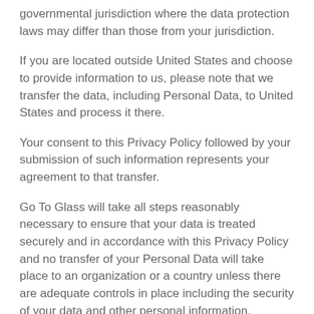governmental jurisdiction where the data protection laws may differ than those from your jurisdiction.
If you are located outside United States and choose to provide information to us, please note that we transfer the data, including Personal Data, to United States and process it there.
Your consent to this Privacy Policy followed by your submission of such information represents your agreement to that transfer.
Go To Glass will take all steps reasonably necessary to ensure that your data is treated securely and in accordance with this Privacy Policy and no transfer of your Personal Data will take place to an organization or a country unless there are adequate controls in place including the security of your data and other personal information.
Disclosure Of Data